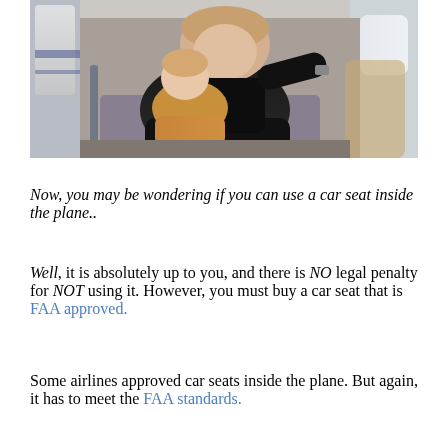[Figure (photo): Adult sitting in airplane seat holding a young child/toddler on their lap, airplane cabin visible in background with seats and windows]
Now, you may be wondering if you can use a car seat inside the plane..
Well, it is absolutely up to you, and there is NO legal penalty for NOT using it. However, you must buy a car seat that is FAA approved.
Some airlines approved car seats inside the plane. But again, it has to meet the FAA standards.
Always check with the company about the car